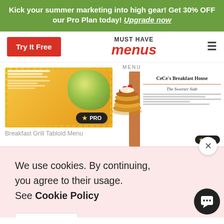Kick your summer marketing into high gear! Get 30% OFF our Pro Plan today! Upgrade now
[Figure (screenshot): Navigation bar with Try It Free button, Must Have Menus logo, and hamburger menu icon]
[Figure (screenshot): Breakfast Grill Tabloid Menu thumbnail with PRO badge]
Breakfast Grill Tabloid Menu
[Figure (screenshot): CeCe's Breakfast House menu thumbnail with pancake image and PRO badge, showing 'The Sweeter Side' section]
We use cookies. By continuing, you agree to their usage. See Cookie Policy
Agree